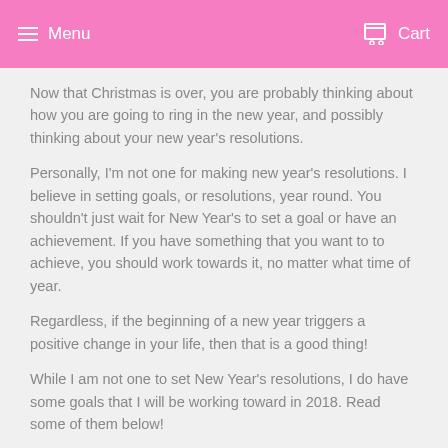Menu  Cart
Now that Christmas is over, you are probably thinking about how you are going to ring in the new year, and possibly thinking about your new year's resolutions.
Personally, I'm not one for making new year's resolutions.  I believe in setting goals, or resolutions, year round.  You shouldn't just wait for New Year's to set a goal or have an achievement.  If you have something that you want to to achieve, you should work towards it, no matter what time of year.
Regardless, if the beginning of a new year triggers a positive change in your life, then that is a good thing!
While I am not one to set New Year's resolutions, I do have some goals that I will be working toward in 2018.  Read some of them below!
1. Grow My Business